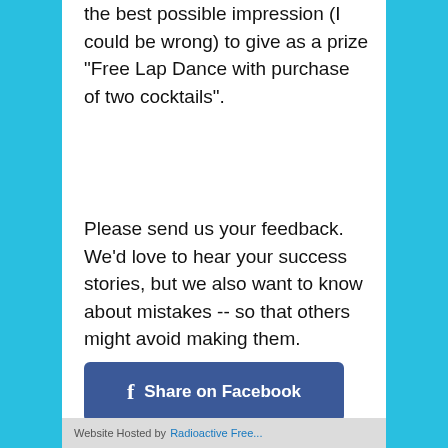the best possible impression (I could be wrong) to give as a prize "Free Lap Dance with purchase of two cocktails".
Please send us your feedback. We'd love to hear your success stories, but we also want to know about mistakes -- so that others might avoid making them.
[Figure (other): Share on Facebook button — dark blue rounded rectangle with Facebook 'f' icon and white text]
[Figure (other): Share on Twitter button — cyan/teal pill-shaped button with Twitter bird icon and white text]
Website Hosted by Radioactive Free...